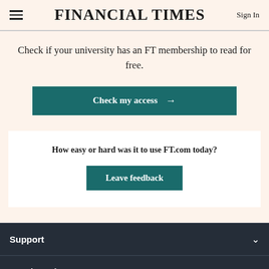FINANCIAL TIMES  Sign In
Check if your university has an FT membership to read for free.
Check my access →
How easy or hard was it to use FT.com today?
Leave feedback
Support
Legal & Privacy